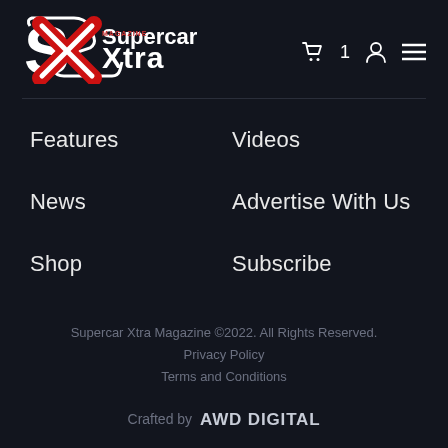[Figure (logo): Supercar Xtra Magazine logo — bold stylized 'S' with red X through it, white text 'Supercar Xtra' and small 'MAGAZINE' tag]
Features
Videos
News
Advertise With Us
Shop
Subscribe
Supercar Xtra Magazine ©2022. All Rights Reserved.
Privacy Policy
Terms and Conditions
Crafted by AWD DIGITAL